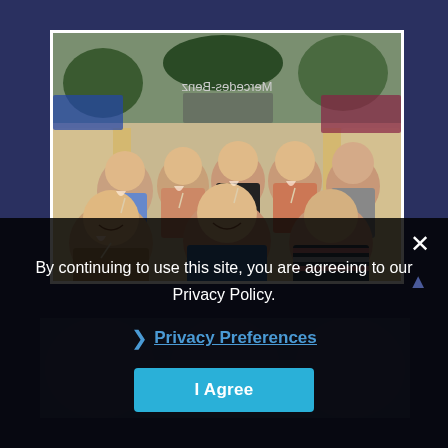[Figure (photo): Group of women sitting inside a coach/bus, raising glasses in a toast. Mercedes-Benz logo visible on the front windshield. Luggage visible in overhead rack.]
By continuing to use this site, you are agreeing to our Privacy Policy.
Privacy Preferences
I Agree